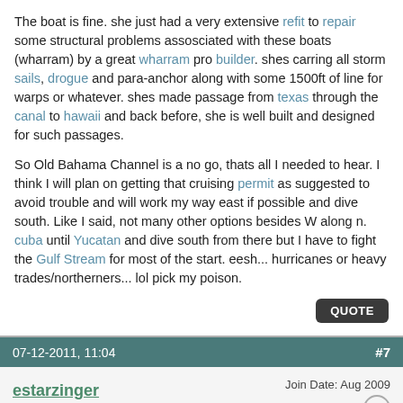The boat is fine. she just had a very extensive refit to repair some structural problems assosciated with these boats (wharram) by a great wharram pro builder. shes carring all storm sails, drogue and para-anchor along with some 1500ft of line for warps or whatever. shes made passage from texas through the canal to hawaii and back before, she is well built and designed for such passages.
So Old Bahama Channel is a no go, thats all I needed to hear. I think I will plan on getting that cruising permit as suggested to avoid trouble and will work my way east if possible and dive south. Like I said, not many other options besides W along n. cuba until Yucatan and dive south from there but I have to fight the Gulf Stream for most of the start. eesh... hurricanes or heavy trades/northerners... lol pick my poison.
07-12-2011, 11:04  #7
estarzinger  Join Date: Aug 2009  Posts: 4,033
Re: Route Confusion! Florida to Panama via Bahamas